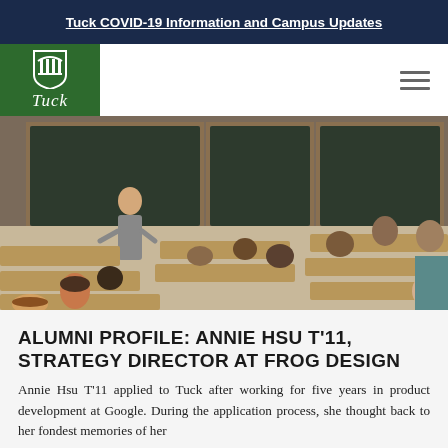Tuck COVID-19 Information and Campus Updates
[Figure (logo): Tuck School of Business at Dartmouth logo — green background with white shield/crest icon and 'Tuck' text in italic serif font]
[Figure (photo): A woman presenter standing at the front of a business school classroom with chalkboards behind her, addressing a room full of seated students at tiered wooden desks]
ALUMNI PROFILE: ANNIE HSU T'11, STRATEGY DIRECTOR AT FROG DESIGN
Annie Hsu T'11 applied to Tuck after working for five years in product development at Google. During the application process, she thought back to her fondest memories of her